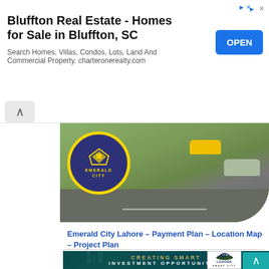[Figure (illustration): Advertisement banner for Bluffton Real Estate with title, description, and OPEN button]
Bluffton Real Estate - Homes for Sale in Bluffton, SC
Search Homes, Villas, Condos, Lots, Land And Commercial Property. charteronerealty.com
[Figure (photo): Emerald City Lahore promotional image with logo circle showing a crown/diamond symbol on dark blue background with yellow border, road scene in background]
Emerald City Lahore – Payment Plan – Location Map – Project Plan
[Figure (photo): Lahore Smart City aerial view promotional banner showing urban development with text CREATING SMART INVESTMENT OPPORTUNITIES and Lahore Smart City logo]